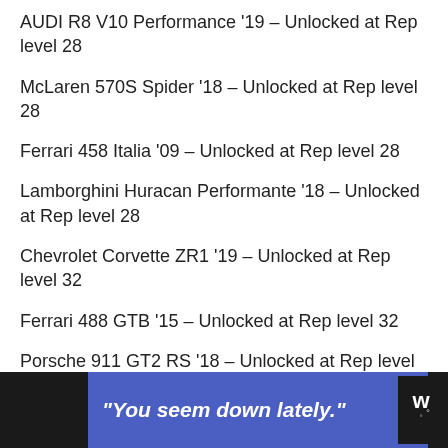AUDI R8 V10 Performance '19 – Unlocked at Rep level 28
McLaren 570S Spider '18 – Unlocked at Rep level 28
Ferrari 458 Italia '09 – Unlocked at Rep level 28
Lamborghini Huracan Performante '18 – Unlocked at Rep level 28
Chevrolet Corvette ZR1 '19 – Unlocked at Rep level 32
Ferrari 488 GTB '15 – Unlocked at Rep level 32
Porsche 911 GT2 RS '18 – Unlocked at Rep level 32
Lamborghini Aventador S Roadster '17 – Unlocked at Rep
[Figure (infographic): Blue advertisement banner with text 'You seem down lately.' in bold italic white font, overlaid on a dark/black bottom bar. A weather widget logo appears on the right side.]